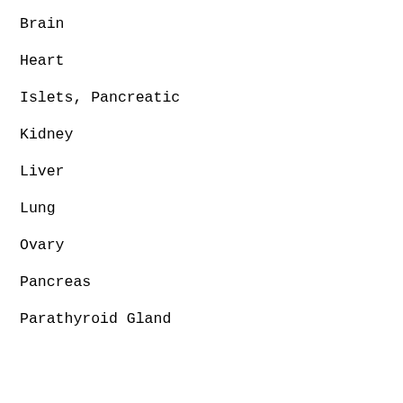Brain
Heart
Islets, Pancreatic
Kidney
Liver
Lung
Ovary
Pancreas
Parathyroid Gland